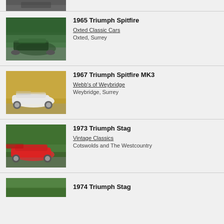[Figure (photo): Partial view of a classic car at top of page (cropped)]
1965 Triumph Spitfire — Oxted Classic Cars, Oxted, Surrey
[Figure (photo): 1965 Triumph Spitfire in dark green, parked on a driveway with trees behind]
1967 Triumph Spitfire MK3 — Webb's of Weybridge, Weybridge, Surrey
[Figure (photo): 1967 Triumph Spitfire MK3 in white, three-quarter front view on autumn leaves]
1973 Triumph Stag — Vintage Classics, Cotswolds and The Westcountry
[Figure (photo): 1973 Triumph Stag in red, front view on a driveway in a garden setting]
1974 Triumph Stag — (dealer details cropped)
[Figure (photo): 1974 Triumph Stag, partially visible at bottom of page]